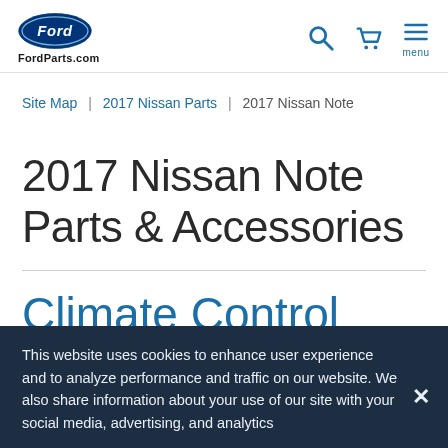FordParts.com
Site Map | 2017 Nissan Parts | 2017 Nissan Note
2017 Nissan Note Parts & Accessories
Climate Control
This website uses cookies to enhance user experience and to analyze performance and traffic on our website. We also share information about your use of our site with your social media, advertising, and analytics